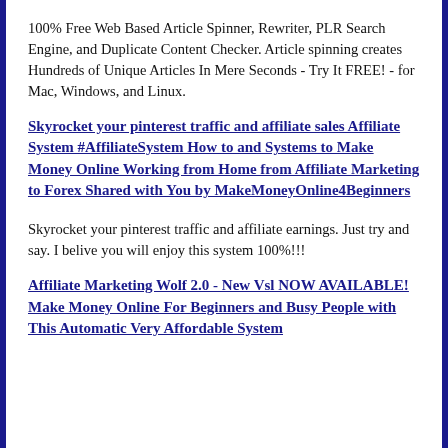100% Free Web Based Article Spinner, Rewriter, PLR Search Engine, and Duplicate Content Checker. Article spinning creates Hundreds of Unique Articles In Mere Seconds - Try It FREE! - for Mac, Windows, and Linux.
Skyrocket your pinterest traffic and affiliate sales Affiliate System #AffiliateSystem How to and Systems to Make Money Online Working from Home from Affiliate Marketing to Forex Shared with You by MakeMoneyOnline4Beginners
Skyrocket your pinterest traffic and affiliate earnings. Just try and say. I belive you will enjoy this system 100%!!!
Affiliate Marketing Wolf 2.0 - New Vsl NOW AVAILABLE! Make Money Online For Beginners and Busy People with This Automatic Very Affordable System